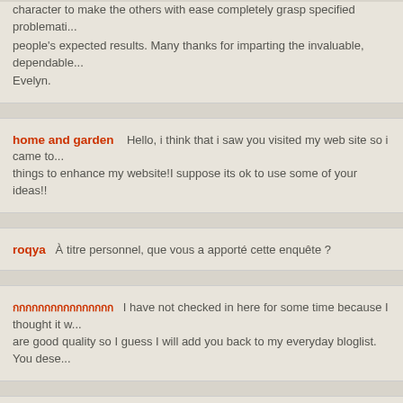character to make the others with ease completely grasp specified problematic... people's expected results. Many thanks for imparting the invaluable, dependable... Evelyn.
home and garden    Hello, i think that i saw you visited my web site so i came to... things to enhance my website!I suppose its ok to use some of your ideas!!
roqya    À titre personnel, que vous a apporté cette enquête ?
กกกกกกกกกกกกกกกก    I have not checked in here for some time because I thought it w... are good quality so I guess I will add you back to my everyday bloglist. You dese...
Chill Type Beat    I truly wanted to develop a comment to be able to say thanks t... giving at this site. My particularly long internet look up has at the end been paid... friends and classmates. I would declare that we website visitors actually are extr... with so many marvellous professionals with insightful advice. I feel quite privile... look forward to some more fabulous times reading here. Thanks once again for ...